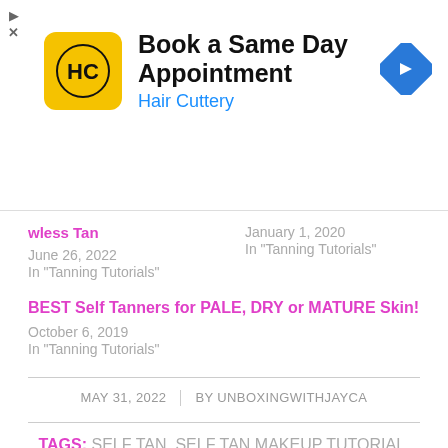[Figure (logo): Hair Cuttery advertisement banner with HC logo, title 'Book a Same Day Appointment', subtitle 'Hair Cuttery', and blue diamond arrow icon]
wless Tan
June 26, 2022
In "Tanning Tutorials"
January 1, 2020
In "Tanning Tutorials"
BEST Self Tanners for PALE, DRY or MATURE Skin!
October 6, 2019
In "Tanning Tutorials"
MAY 31, 2022 | BY UNBOXINGWITHJAYCA
TAGS: SELF TAN, SELF TAN MAKEUP TUTORIAL, SELF TAN MOUSSE TUTORIAL, SELF TANNER, SELF